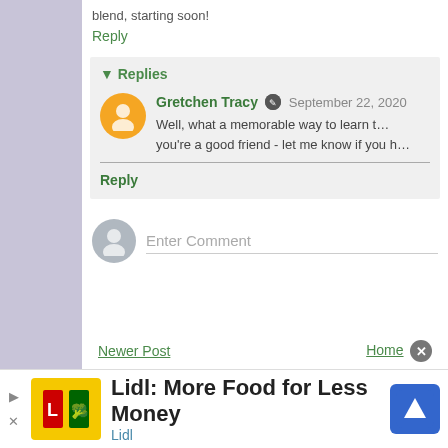blend, starting soon!
Reply
▾ Replies
Gretchen Tracy  September 22, 2020
Well, what a memorable way to learn t… you're a good friend - let me know if you h…
Reply
Enter Comment
Newer Post
Home
Lidl: More Food for Less Money
Lidl